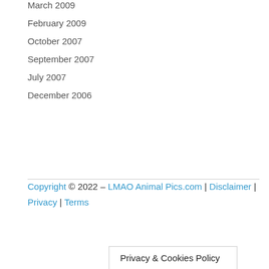March 2009
February 2009
October 2007
September 2007
July 2007
December 2006
Copyright © 2022 – LMAO Animal Pics.com | Disclaimer | Privacy | Terms
Privacy & Cookies Policy